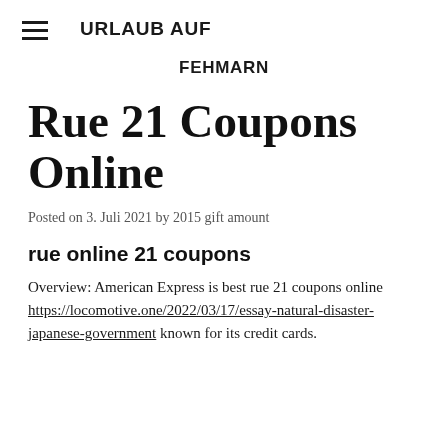URLAUB AUF
FEHMARN
Rue 21 Coupons Online
Posted on 3. Juli 2021 by 2015 gift amount
rue online 21 coupons
Overview: American Express is best rue 21 coupons online https://locomotive.one/2022/03/17/essay-natural-disaster-japanese-government known for its credit cards.